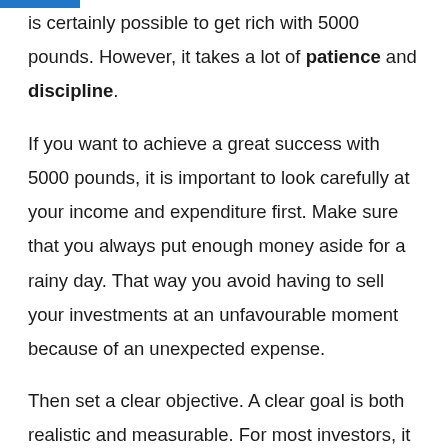is certainly possible to get rich with 5000 pounds. However, it takes a lot of patience and discipline.
If you want to achieve a great success with 5000 pounds, it is important to look carefully at your income and expenditure first. Make sure that you always put enough money aside for a rainy day. That way you avoid having to sell your investments at an unfavourable moment because of an unexpected expense.
Then set a clear objective. A clear goal is both realistic and measurable. For most investors, it is wise to divide the goal into steps: in this way, you can clearly see that you are making progress, so that…